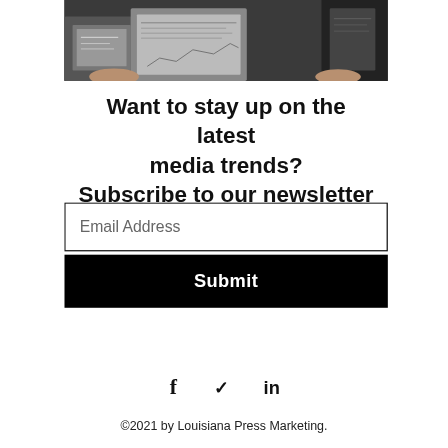[Figure (photo): Hands holding smartphones and newspapers/tablets on a desk, suggesting media consumption]
Want to stay up on the latest media trends?
Subscribe to our newsletter
Email Address
Submit
[Figure (illustration): Social media icons: Facebook (f), Twitter (bird/checkmark), LinkedIn (in)]
©2021 by Louisiana Press Marketing.